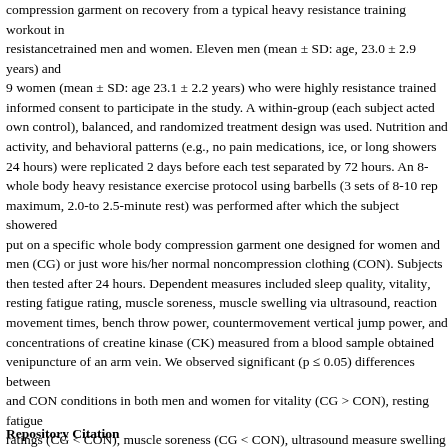compression garment on recovery from a typical heavy resistance training workout in resistance trained men and women. Eleven men (mean ± SD: age, 23.0 ± 2.9 years) and 9 women (mean ± SD: age 23.1 ± 2.2 years) who were highly resistance trained gave informed consent to participate in the study. A within-group (each subject acted as their own control), balanced, and randomized treatment design was used. Nutrition, physical activity, and behavioral patterns (e.g., no pain medications, ice, or long showers for 24 hours) were replicated 2 days before each test separated by 72 hours. An 8-exercise whole body heavy resistance exercise protocol using barbells (3 sets of 8-10 repetition maximum, 2.0-to 2.5-minute rest) was performed after which the subject showered and put on a specific whole body compression garment one designed for women and one for men (CG) or just wore his/her normal noncompression clothing (CON). Subjects were then tested after 24 hours. Dependent measures included sleep quality, vitality, resting fatigue rating, muscle soreness, muscle swelling via ultrasound, reaction and movement times, bench throw power, countermovement vertical jump power, and concentrations of creatine kinase (CK) measured from a blood sample obtained by venipuncture of an arm vein. We observed significant (p ≤ 0.05) differences between CG and CON conditions in both men and women for vitality (CG > CON), resting fatigue ratings (CG < CON), muscle soreness (CG < CON), ultrasound measure swelling (CG < CON), bench press throw (CG > CON), and CK (CG < CON). A whole body compression garment worn during the 24-hour recovery period after an intense heavy resistance training workout enhances various psychological, physiological, and a few performance markers of recovery compared with noncompressive control garment conditions. The use of compression appears to help in the recovery process after an intense heavy resistance training workout in men and women.
Repository Citation